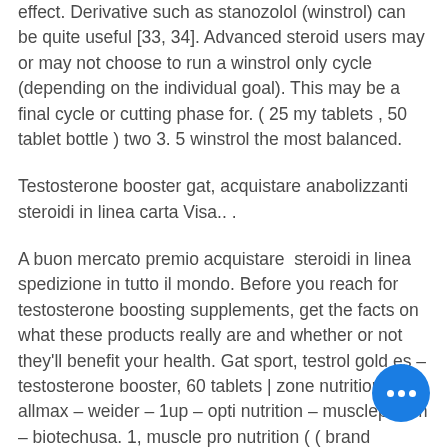effect. Derivative such as stanozolol (winstrol) can be quite useful [33, 34]. Advanced steroid users may or may not choose to run a winstrol only cycle (depending on the individual goal). This may be a final cycle or cutting phase for. ( 25 my tablets , 50 tablet bottle ) two 3. 5 winstrol the most balanced.
Testosterone booster gat, acquistare anabolizzanti steroidi in linea carta Visa.. .
A buon mercato premio acquistare  steroidi in linea spedizione in tutto il mondo. Before you reach for testosterone boosting supplements, get the facts on what these products really are and whether or not they'll benefit your health. Gat sport, testrol gold es – testosterone booster, 60 tablets | zone nutrition | allmax – weider – 1up – opti nutrition – musclepharm – biotechusa. 1, muscle pro nutrition ( ( brand authorized);